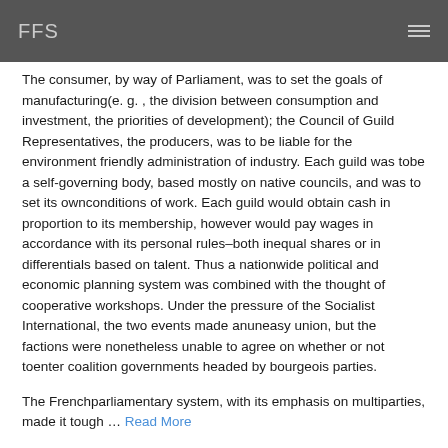FFS
The consumer, by way of Parliament, was to set the goals of manufacturing(e. g. , the division between consumption and investment, the priorities of development); the Council of Guild Representatives, the producers, was to be liable for the environment friendly administration of industry. Each guild was tobe a self-governing body, based mostly on native councils, and was to set its ownconditions of work. Each guild would obtain cash in proportion to its membership, however would pay wages in accordance with its personal rules–both inequal shares or in differentials based on talent. Thus a nationwide political and economic planning system was combined with the thought of cooperative workshops. Under the pressure of the Socialist International, the two events made anuneasy union, but the factions were nonetheless unable to agree on whether or not toenter coalition governments headed by bourgeois parties.
The Frenchparliamentary system, with its emphasis on multiparties, made it tough … Read More